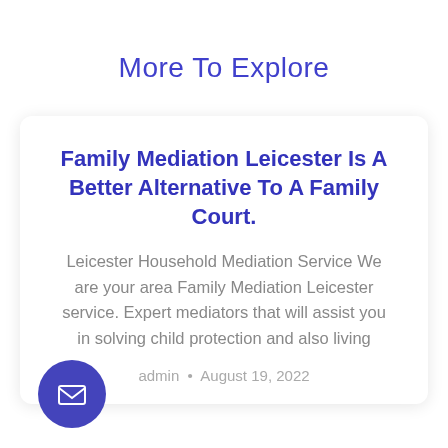More To Explore
Family Mediation Leicester Is A Better Alternative To A Family Court.
Leicester Household Mediation Service We are your area Family Mediation Leicester service. Expert mediators that will assist you in solving child protection and also living
admin  •  August 19, 2022